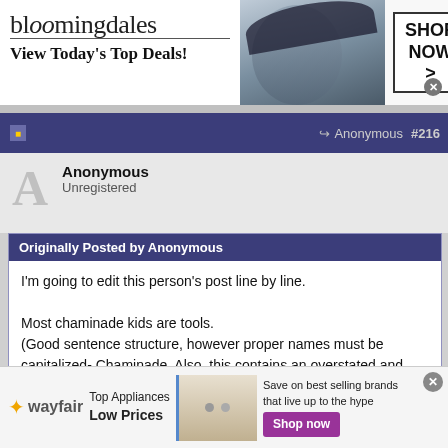[Figure (infographic): Bloomingdale's advertisement banner: logo text 'bloomingdales', tagline 'View Today's Top Deals!', model photo with hat, 'SHOP NOW >' button box]
Anonymous  #216
Anonymous
Unregistered
Originally Posted by Anonymous
I'm going to edit this person's post line by line.

Most chaminade kids are tools.
(Good sentence structure, however proper names must be capitalized- Chaminade. Also, this contains an overstated and unsubstantiated generalization, or... personal opinion)
[Figure (infographic): Wayfair advertisement: wayfair logo, 'Top Appliances Low Prices', appliance image, 'Save on best selling brands that live up to the hype', 'Shop now' purple button]